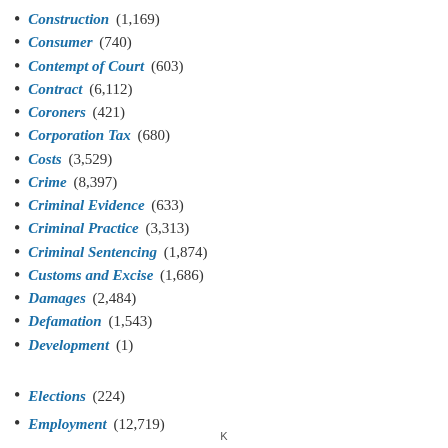Construction (1,169)
Consumer (740)
Contempt of Court (603)
Contract (6,112)
Coroners (421)
Corporation Tax (680)
Costs (3,529)
Crime (8,397)
Criminal Evidence (633)
Criminal Practice (3,313)
Criminal Sentencing (1,874)
Customs and Excise (1,686)
Damages (2,484)
Defamation (1,543)
Development (1)
[Figure (screenshot): Chat widget overlay with avatar showing 'Want to ask a Solicitor online now? I can connect you ...']
Elections (224)
Employment (12,719)